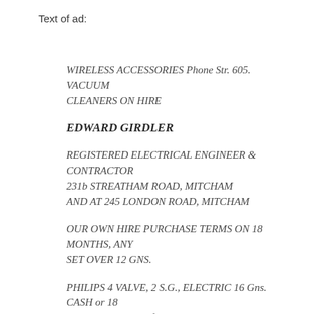Text of ad:
WIRELESS ACCESSORIES Phone Str. 605. VACUUM CLEANERS ON HIRE
EDWARD GIRDLER
REGISTERED ELECTRICAL ENGINEER & CONTRACTOR
231b STREATHAM ROAD, MITCHAM
AND AT 245 LONDON ROAD, MITCHAM
OUR OWN HIRE PURCHASE TERMS ON 18 MONTHS, ANY SET OVER 12 GNS.
PHILIPS 4 VALVE, 2 S.G., ELECTRIC 16 Gns. CASH or 18 monthly payments of 19/7.
This is the electrical age, and an electrical gift is the